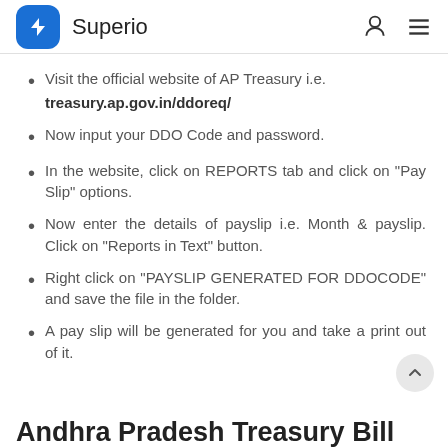Superio
Visit the official website of AP Treasury i.e. treasury.ap.gov.in/ddoreq/
Now input your DDO Code and password.
In the website, click on REPORTS tab and click on "Pay Slip" options.
Now enter the details of payslip i.e. Month & payslip. Click on "Reports in Text" button.
Right click on "PAYSLIP GENERATED FOR DDOCODE" and save the file in the folder.
A pay slip will be generated for you and take a print out of it.
Andhra Pradesh Treasury Bill